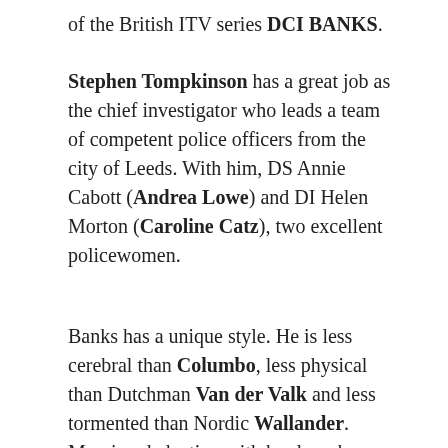of the British ITV series DCI BANKS.
Stephen Tompkinson has a great job as the chief investigator who leads a team of competent police officers from the city of Leeds. With him, DS Annie Cabott (Andrea Lowe) and DI Helen Morton (Caroline Catz), two excellent policewomen.
Banks has a unique style. He is less cerebral than Columbo, less physical than Dutchman Van der Valk and less tormented than Nordic Wallander. Merging deduction with hard work Banks stubbornly goes after the culprits.